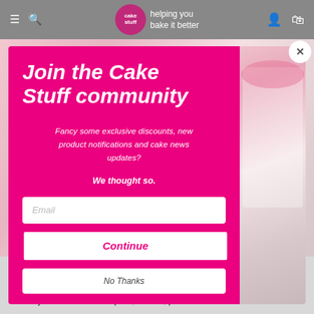cake stuff — helping you bake it better
[Figure (screenshot): Modal popup overlay on a cake decorating website (Cake Stuff). The modal has a pink/magenta background with white text reading 'Join the Cake Stuff community', body text about exclusive discounts, new product notifications and cake news updates, 'We thought so.' text, an email input field, a 'Continue' button, and a 'No Thanks' button. On the right side is a photo of a white layered cake decorated with pink flowers on a white cake stand, held by a person wearing a white top with red nail polish.]
longer
ingredients: glucose syrup, water, thickener:
acetylated di-starch adipate, E1422, preservative: